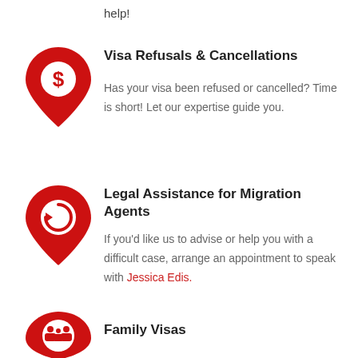help!
[Figure (illustration): Red map pin icon with dollar sign symbol]
Visa Refusals & Cancellations
Has your visa been refused or cancelled? Time is short! Let our expertise guide you.
[Figure (illustration): Red map pin icon with refresh/reset circular arrow symbol]
Legal Assistance for Migration Agents
If you'd like us to advise or help you with a difficult case, arrange an appointment to speak with Jessica Edis.
[Figure (illustration): Red map pin icon with family silhouette symbol]
Family Visas